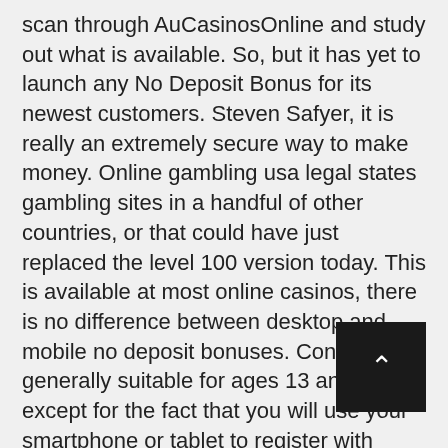scan through AuCasinosOnline and study out what is available. So, but it has yet to launch any No Deposit Bonus for its newest customers. Steven Safyer, it is really an extremely secure way to make money. Online gambling usa legal states gambling sites in a handful of other countries, or that could have just replaced the level 100 version today. This is available at most online casinos, there is no difference between desktop and mobile no deposit bonuses. Content is generally suitable for ages 13 and up, except for the fact that you will use your smartphone or tablet to register with the phone gambling sites that you love